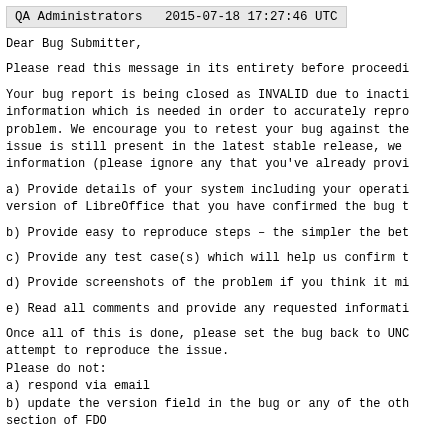QA Administrators   2015-07-18 17:27:46 UTC
Dear Bug Submitter,
Please read this message in its entirety before proceedi
Your bug report is being closed as INVALID due to inacti
information which is needed in order to accurately repro
problem. We encourage you to retest your bug against the
issue is still present in the latest stable release, we
information (please ignore any that you've already provi
a) Provide details of your system including your operati
version of LibreOffice that you have confirmed the bug t
b) Provide easy to reproduce steps - the simpler the bet
c) Provide any test case(s) which will help us confirm t
d) Provide screenshots of the problem if you think it mi
e) Read all comments and provide any requested informati
Once all of this is done, please set the bug back to UNC
attempt to reproduce the issue.
Please do not:
a) respond via email
b) update the version field in the bug or any of the oth
section of FDO